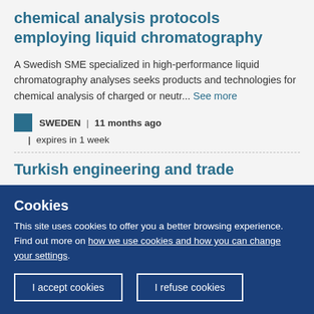chemical analysis protocols employing liquid chromatography
A Swedish SME specialized in high-performance liquid chromatography analyses seeks products and technologies for chemical analysis of charged or neutr... See more
SWEDEN | 11 months ago | expires in 1 week
Turkish engineering and trade
Cookies
This site uses cookies to offer you a better browsing experience. Find out more on how we use cookies and how you can change your settings.
I accept cookies
I refuse cookies